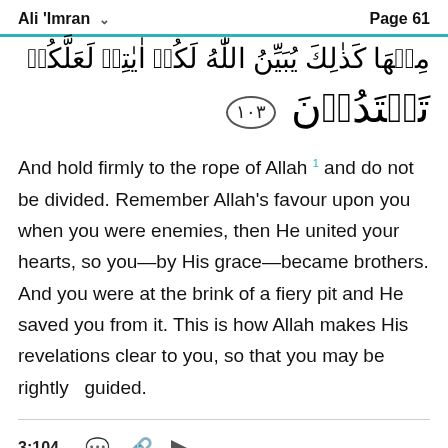Ali 'Imran   Page 61
مِنۡهَا كَذٰلِكَ يُبَيِّنُ اللّٰهُ لَكُمۡ اٰيٰتِهٖ لَعَلَّكُمۡ
تَهۡتَدُوۡنَ ۝١٠٣
And hold firmly to the rope of Allah 1 and do not be divided. Remember Allah's favour upon you when you were enemies, then He united your hearts, so you—by His grace—became brothers. And you were at the brink of a fiery pit and He saved you from it. This is how Allah makes His revelations clear to you, so that you may be  rightly  guided.
3:104